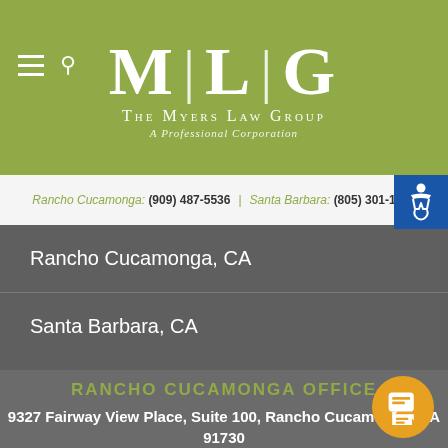[Figure (logo): MLG - The Myers Law Group, A Professional Corporation logo with white text on olive green background]
Rancho Cucamonga: (909) 487-5536 | Santa Barbara: (805) 301-1240
Rancho Cucamonga, CA
Santa Barbara, CA
RANCHO CUCAMONGA OFFICE
9327 Fairway View Place, Suite 100, Rancho Cucamonga, CA 91730
(909) 487-5536